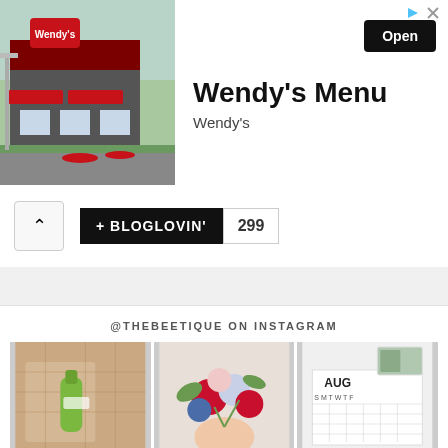[Figure (photo): Wendy's restaurant exterior with red awnings and parking lot]
Wendy's Menu
Wendy's
Open
[Figure (logo): Bloglovin button with +BLOGLOVIN' text and count 299]
@THEBEETIQUE ON INSTAGRAM
[Figure (photo): Instagram photo: green bottle on plaid cloth]
[Figure (photo): Instagram photo: bouquet of red white and blue flowers]
[Figure (photo): Instagram photo: August calendar on white wall]
[Figure (photo): Instagram photo: Christian & Steam text overlay on dark background]
[Figure (photo): Instagram photo: white wall with small framed art]
[Figure (photo): Instagram photo: couple standing by a creek with trees]